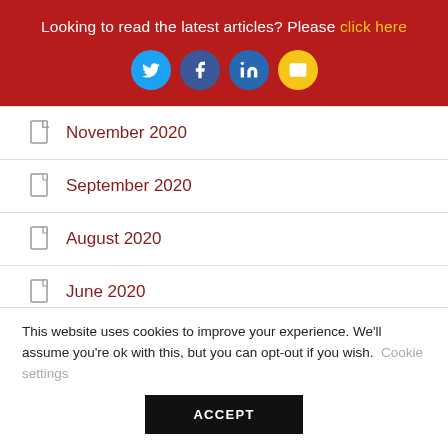Looking to read the latest articles? Please click here
November 2020
September 2020
August 2020
June 2020
February 2020
January 2020
This website uses cookies to improve your experience. We'll assume you're ok with this, but you can opt-out if you wish. Cookie settings ACCEPT